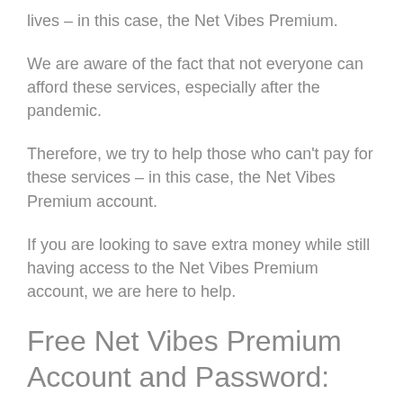lives – in this case, the Net Vibes Premium.
We are aware of the fact that not everyone can afford these services, especially after the pandemic.
Therefore, we try to help those who can't pay for these services – in this case, the Net Vibes Premium account.
If you are looking to save extra money while still having access to the Net Vibes Premium account, we are here to help.
Free Net Vibes Premium Account and Password: